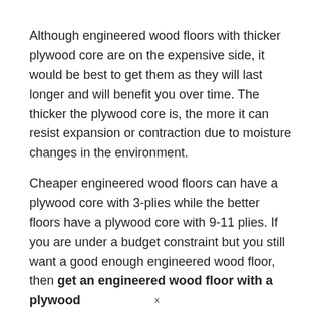Although engineered wood floors with thicker plywood core are on the expensive side, it would be best to get them as they will last longer and will benefit you over time. The thicker the plywood core is, the more it can resist expansion or contraction due to moisture changes in the environment.
Cheaper engineered wood floors can have a plywood core with 3-plies while the better floors have a plywood core with 9-11 plies. If you are under a budget constraint but you still want a good enough engineered wood floor, then get an engineered wood floor with a plywood